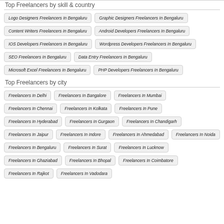Top Freelancers by skill & country
Logo Designers Freelancers In Bengaluru
Graphic Designers Freelancers In Bengaluru
Content Writers Freelancers In Bengaluru
Android Developers Freelancers In Bengaluru
IOS Developers Freelancers In Bengaluru
Wordpress Developers Freelancers In Bengaluru
SEO Freelancers In Bengaluru
Data Entry Freelancers In Bengaluru
Microsoft Excel Freelancers In Bengaluru
PHP Developers Freelancers In Bengaluru
Top Freelancers by city
Freelancers In Delhi
Freelancers In Bangalore
Freelancers In Mumbai
Freelancers In Chennai
Freelancers In Kolkata
Freelancers In Pune
Freelancers In Hyderabad
Freelancers In Gurgaon
Freelancers In Chandigarh
Freelancers In Jaipur
Freelancers In Indore
Freelancers In Ahmedabad
Freelancers In Noida
Freelancers In Bengaluru
Freelancers In Surat
Freelancers In Lucknow
Freelancers In Ghaziabad
Freelancers In Bhopal
Freelancers In Coimbatore
Freelancers In Rajkot
Freelancers In Vadodara